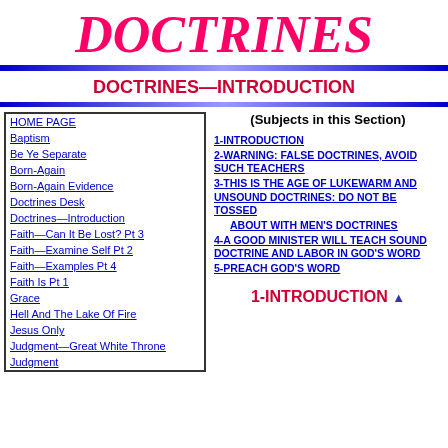DOCTRINES
DOCTRINES—INTRODUCTION
HOME PAGE
Baptism
Be Ye Separate
Born-Again
Born-Again Evidence
Doctrines Desk
Doctrines—Introduction
Faith—Can It Be Lost? Pt 3
Faith—Examine Self Pt 2
Faith—Examples Pt 4
Faith Is Pt 1
Grace
Hell And The Lake Of Fire
Jesus Only
Judgment—Great White Throne
Judgment
(Subjects in this Section)
1-INTRODUCTION
2-WARNING: FALSE DOCTRINES, AVOID SUCH TEACHERS
3-THIS IS THE AGE OF LUKEWARM AND UNSOUND DOCTRINES: DO NOT BE TOSSED ABOUT WITH MEN'S DOCTRINES
4-A GOOD MINISTER WILL TEACH SOUND DOCTRINE AND LABOR IN GOD'S WORD
5-PREACH GOD'S WORD
1-INTRODUCTION ▲